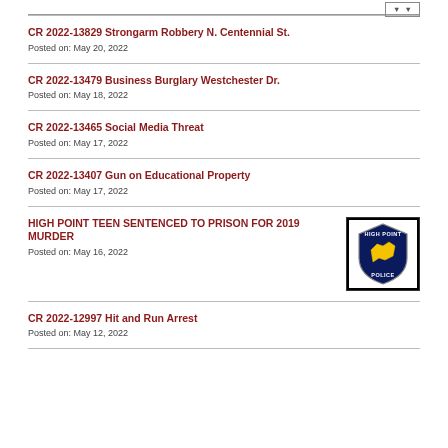CR 2022-13829 Strongarm Robbery N. Centennial St.
Posted on: May 20, 2022
CR 2022-13479 Business Burglary Westchester Dr.
Posted on: May 18, 2022
CR 2022-13465 Social Media Threat
Posted on: May 17, 2022
CR 2022-13407 Gun on Educational Property
Posted on: May 17, 2022
HIGH POINT TEEN SENTENCED TO PRISON FOR 2019 MURDER
Posted on: May 16, 2022
[Figure (logo): High Point Police badge logo — shield shape with yellow NC state outline on dark blue background, text HIGH POINT POLICE]
CR 2022-12997 Hit and Run Arrest
Posted on: May 12, 2022